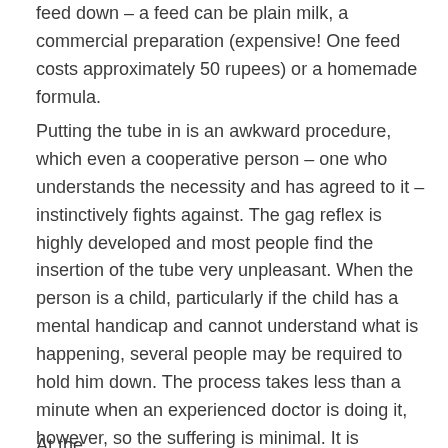feed down – a feed can be plain milk, a commercial preparation (expensive! One feed costs approximately 50 rupees) or a homemade formula.
Putting the tube in is an awkward procedure, which even a cooperative person – one who understands the necessity and has agreed to it – instinctively fights against. The gag reflex is highly developed and most people find the insertion of the tube very unpleasant. When the person is a child, particularly if the child has a mental handicap and cannot understand what is happening, several people may be required to hold him down. The process takes less than a minute when an experienced doctor is doing it, however, so the suffering is minimal. It is upsetting, but remind yourself that it will save your child's life.
At the...